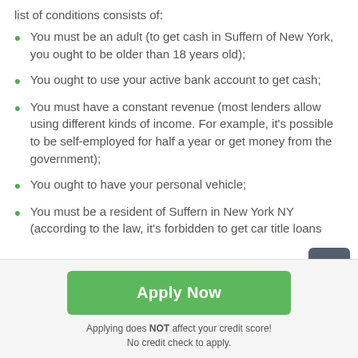list of conditions consists of:
You must be an adult (to get cash in Suffern of New York, you ought to be older than 18 years old);
You ought to use your active bank account to get cash;
You must have a constant revenue (most lenders allow using different kinds of income. For example, it's possible to be self-employed for half a year or get money from the government);
You ought to have your personal vehicle;
You must be a resident of Suffern in New York NY (according to the law, it's forbidden to get car title loans
Apply Now
Applying does NOT affect your credit score!
No credit check to apply.